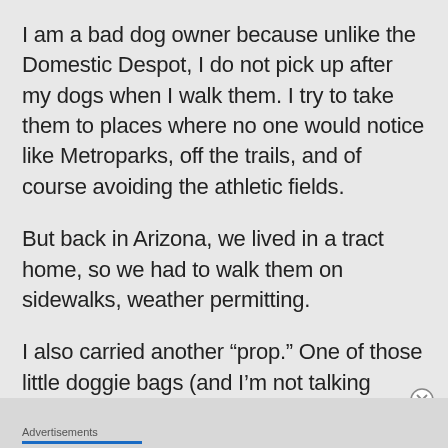I am a bad dog owner because unlike the Domestic Despot, I do not pick up after my dogs when I walk them. I try to take them to places where no one would notice like Metroparks, off the trails, and of course avoiding the athletic fields.
But back in Arizona, we lived in a tract home, so we had to walk them on sidewalks, weather permitting.
I also carried another “prop.” One of those little doggie bags (and I’m not talking about restaurant doggie bags). If it was in the daytime and I knew there was a possibility of being spotted, I carried
Advertisements